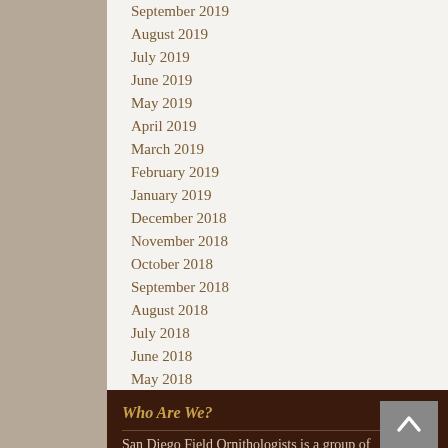September 2019
August 2019
July 2019
June 2019
May 2019
April 2019
March 2019
February 2019
January 2019
December 2018
November 2018
October 2018
September 2018
August 2018
July 2018
June 2018
May 2018
Who Are We?
San Diego Field Ornithologists is a group of individuals interested in birding in San